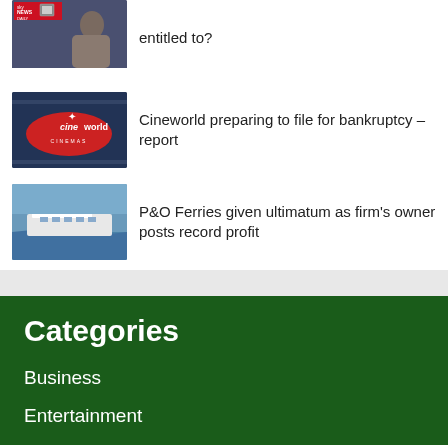[Figure (photo): Sky News Daily thumbnail - partial view at top of page showing a person holding a phone]
entitled to?
[Figure (photo): Cineworld logo sign - dark background with cineworld branding in red]
Cineworld preparing to file for bankruptcy – report
[Figure (photo): P&O Ferries ship on water]
P&O Ferries given ultimatum as firm's owner posts record profit
Categories
Business
Entertainment